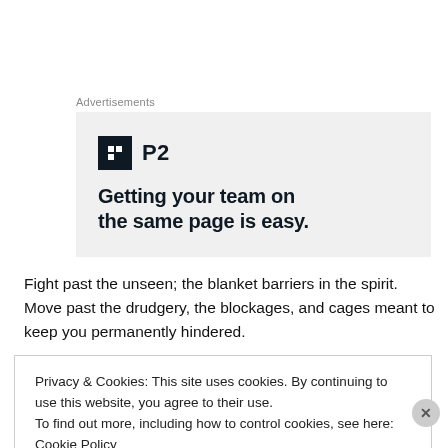Advertisements
[Figure (logo): P2 advertisement banner on light grey background. Shows P2 logo (dark square icon with white grid symbol) and tagline: Getting your team on the same page is easy.]
Fight past the unseen; the blanket barriers in the spirit.  Move past the drudgery, the blockages, and cages meant to keep you permanently hindered.
Privacy & Cookies: This site uses cookies. By continuing to use this website, you agree to their use.
To find out more, including how to control cookies, see here: Cookie Policy
Close and accept